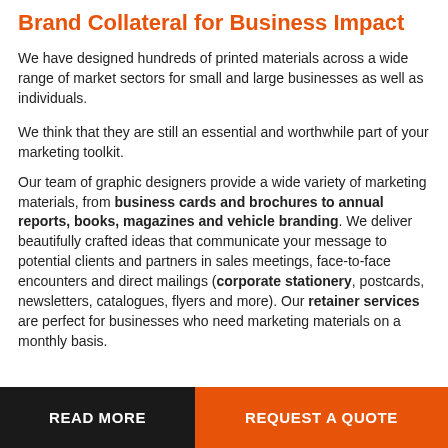Brand Collateral for Business Impact
We have designed hundreds of printed materials across a wide range of market sectors for small and large businesses as well as individuals.
We think that they are still an essential and worthwhile part of your marketing toolkit.
Our team of graphic designers provide a wide variety of marketing materials, from business cards and brochures to annual reports, books, magazines and vehicle branding. We deliver beautifully crafted ideas that communicate your message to potential clients and partners in sales meetings, face-to-face encounters and direct mailings (corporate stationery, postcards, newsletters, catalogues, flyers and more). Our retainer services are perfect for businesses who need marketing materials on a monthly basis.
READ MORE
REQUEST A QUOTE